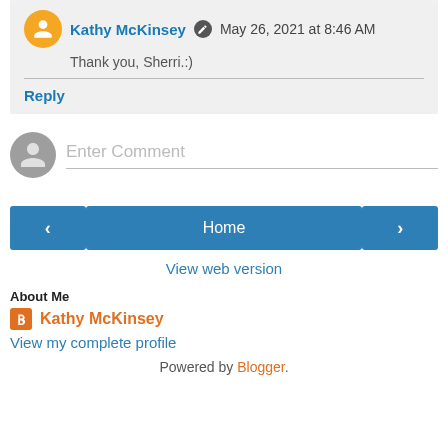Kathy McKinsey ✎ May 26, 2021 at 8:46 AM
Thank you, Sherri.:)
Reply
Enter Comment
< Home >
View web version
About Me
Kathy McKinsey
View my complete profile
Powered by Blogger.